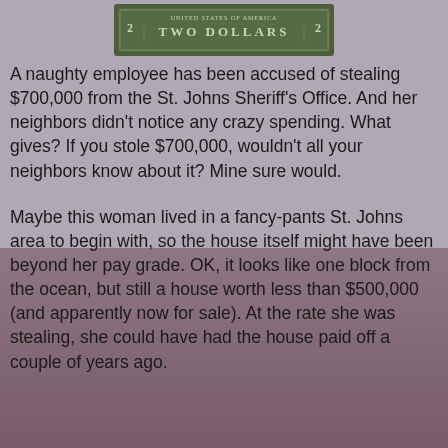[Figure (illustration): Image of a US two-dollar bill at the top of the page]
A naughty employee has been accused of stealing $700,000 from the St. Johns Sheriff's Office. And her neighbors didn't notice any crazy spending. What gives? If you stole $700,000, wouldn't all your neighbors know about it? Mine sure would.
Maybe this woman lived in a fancy-pants St. Johns area to begin with, so the house itself might have been beyond her pay grade. OK, it looks like one block from the ocean, but still a house worth less than $500,000 (and apparently now for sale). At the rate she was stealing, she could have had the house paid off a couple of years ago.